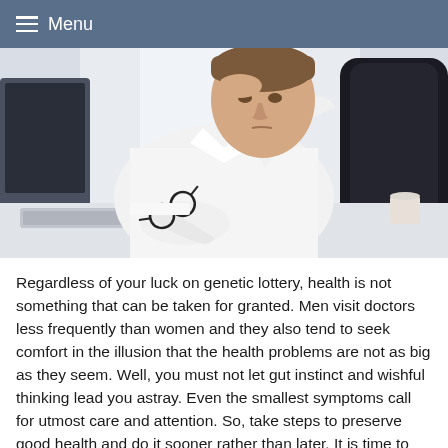≡ Menu
[Figure (photo): A man in a white dress shirt sitting at a desk, holding glasses in one hand and rubbing his forehead with the other, with a computer monitor and keyboard in the background.]
Regardless of your luck on genetic lottery, health is not something that can be taken for granted. Men visit doctors less frequently than women and they also tend to seek comfort in the illusion that the health problems are not as big as they seem. Well, you must not let gut instinct and wishful thinking lead you astray. Even the smallest symptoms call for utmost care and attention. So, take steps to preserve good health and do it sooner rather than later. It is time to change the attitude, educate yourself, and visit the doctor more often.